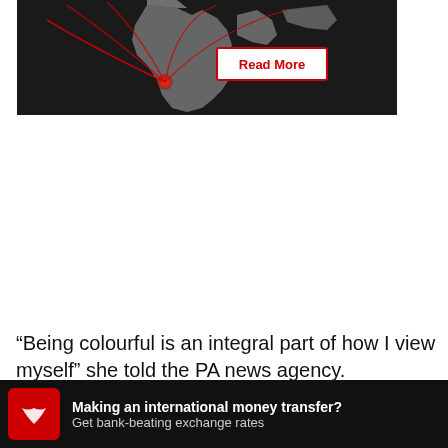[Figure (map): Dark world map with red arc lines radiating from a point in West/Central Africa outward to various global destinations, with a 'Read More' button overlay]
“Being colourful is an integral part of how I view myself” she told the PA news agency.
Recommended
Man go... homele...
[Figure (infographic): Advertisement banner: Making an international money transfer? Get bank-beating exchange rates]